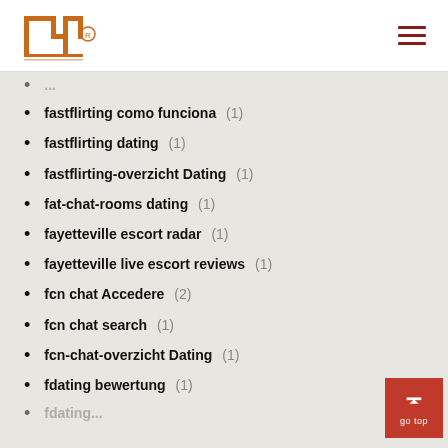INP logo and navigation
fastflirting como funciona (1)
fastflirting dating (1)
fastflirting-overzicht Dating (1)
fat-chat-rooms dating (1)
fayetteville escort radar (1)
fayetteville live escort reviews (1)
fcn chat Accedere (2)
fcn chat search (1)
fcn-chat-overzicht Dating (1)
fdating bewertung (1)